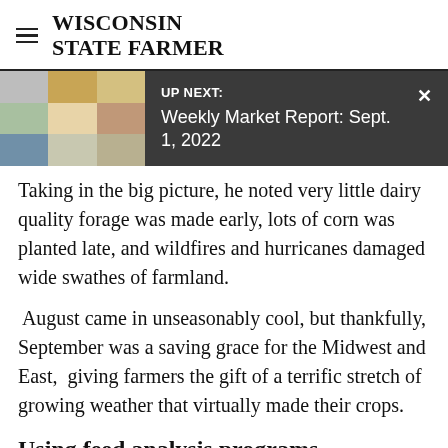WISCONSIN STATE FARMER
[Figure (screenshot): UP NEXT banner with thumbnail grid showing farm animals, text: 'UP NEXT: Weekly Market Report: Sept. 1, 2022' with close X button]
Taking in the big picture, he noted very little dairy quality forage was made early, lots of corn was planted late, and wildfires and hurricanes damaged wide swathes of farmland.
August came in unseasonably cool, but thankfully, September was a saving grace for the Midwest and East,  giving farmers the gift of a terrific stretch of growing weather that virtually made their crops.
Using feed analysis programs
To be cut off at bottom...